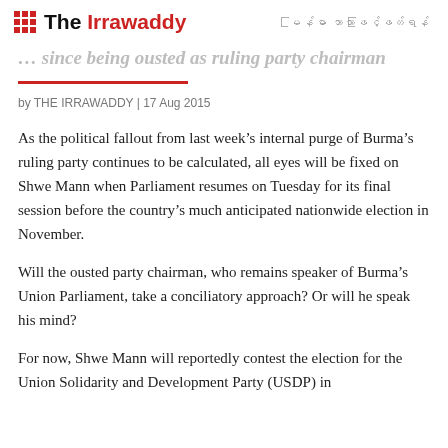The Irrawaddy
… since being ousted as ruling party chairman
by THE IRRAWADDY | 17 Aug 2015
As the political fallout from last week's internal purge of Burma's ruling party continues to be calculated, all eyes will be fixed on Shwe Mann when Parliament resumes on Tuesday for its final session before the country's much anticipated nationwide election in November.
Will the ousted party chairman, who remains speaker of Burma's Union Parliament, take a conciliatory approach? Or will he speak his mind?
For now, Shwe Mann will reportedly contest the election for the Union Solidarity and Development Party (USDP) in